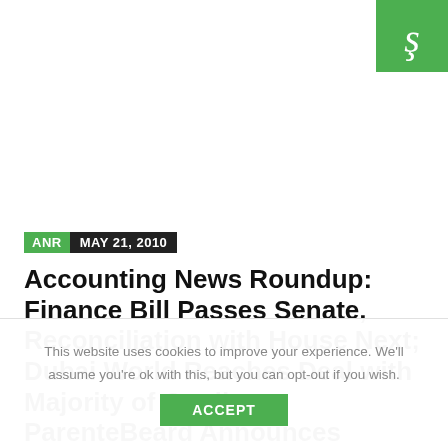[Figure (logo): Green square logo with white scripted letter S icon]
ANR  MAY 21, 2010
Accounting News Roundup: Finance Bill Passes Senate, Reconciliation with House Next; Dubai World Reaches Deal with Majority of Creditors; ParenteBeard Announces Emerging Growth Business Practice | 05.21.10
This website uses cookies to improve your experience. We'll assume you're ok with this, but you can opt-out if you wish.
ACCEPT